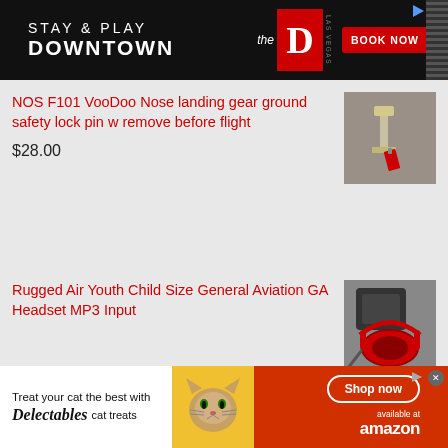[Figure (other): Advertisement banner: STAY & PLAY DOWNTOWN - The D Las Vegas - BOOK NOW]
NOS F101 VooDoo Nose landing gear ground safety lock pin w remove before flight
[Figure (photo): Photo of a landing gear ground safety lock pin with red 'remove before flight' tag]
$28.00
Rugged Air Youth Child Size General Aviation GA Headset MP3 Input
[Figure (photo): Photo of a red youth aviation headset with carrying case]
[Figure (other): Advertisement banner: Treat your cat the best with Delectables cat treats - available at amazon - Shop now]